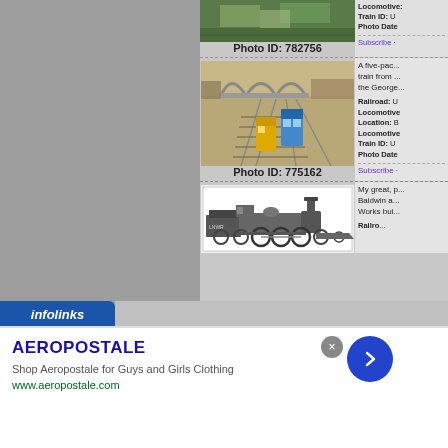[Figure (photo): Partial train/bridge photo at top, Photo ID 782756]
Photo ID: 782756
[Figure (photo): Aerial view of train yard with arched bridge, blue/yellow locomotives, Photo ID 775162]
Photo ID: 775162
A five-pac... train from ... the George...
Railroad: U Locomotive Location: B Locomotive Train ID: U Photo Date
Subscribe ·
[Figure (photo): Steam locomotive photo, black and white illustration]
My great, p Baldwin a... Works bui...
Railroad: L...
Subscribe ·
[Figure (advertisement): Aeropostale ad - Shop Aeropostale for Guys and Girls Clothing, www.aeropostale.com]
infolinks
AEROPOSTALE
Shop Aeropostale for Guys and Girls Clothing
www.aeropostale.com